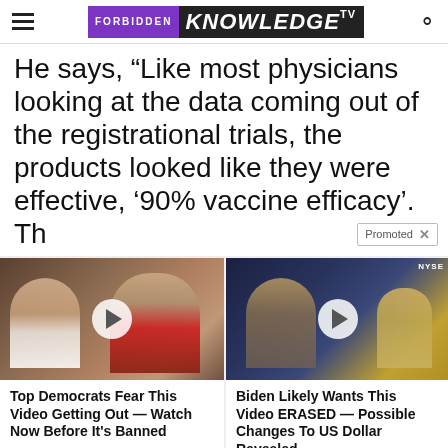FORBIDDEN KNOWLEDGE TV
He says, “Like most physicians looking at the data coming out of the registrational trials, the products looked like they were effective, ’90% vaccine efficacy’. Th
[Figure (screenshot): Promoted ad banner with two video thumbnails. Left: two people at an event with play button. Right: TV studio/NYSE scene with play button. Ad titles: 'Top Democrats Fear This Video Getting Out — Watch Now Before It's Banned' and 'Biden Likely Wants This Video ERASED — Possible Changes To US Dollar Revealed'. Both have 'Watch The Video' buttons.]